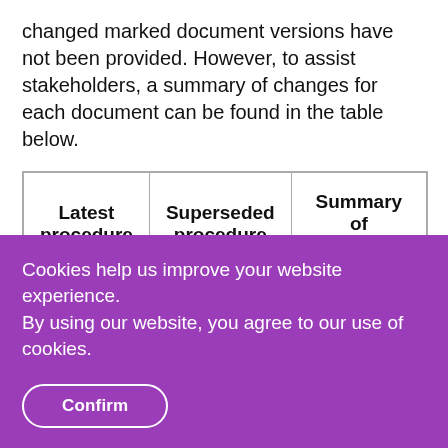changed marked document versions have not been provided. However, to assist stakeholders, a summary of changes for each document can be found in the table below.
| Latest procedure | Superseded procedure | Summary of changes |
| --- | --- | --- |
Cookies help us improve your website experience.
By using our website, you agree to our use of cookies.